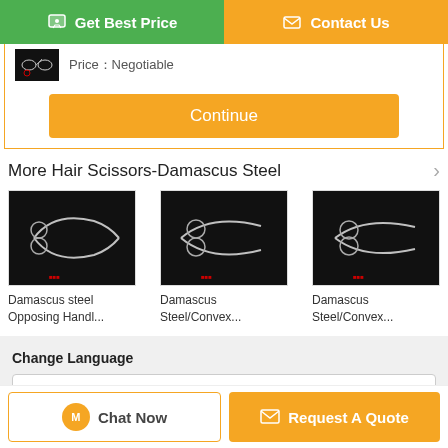[Figure (screenshot): Green 'Get Best Price' button with chat icon on the left, orange 'Contact Us' button with envelope icon on the right]
Price：Negotiable
[Figure (photo): Small product thumbnail image of Damascus steel scissors on black background]
[Figure (screenshot): Orange 'Continue' button]
More  Hair Scissors-Damascus Steel
[Figure (photo): Damascus steel scissors product image on black background - card 1]
Damascus steel Opposing Handl...
[Figure (photo): Damascus steel scissors product image on black background - card 2]
Damascus Steel/Convex...
[Figure (photo): Damascus steel scissors product image on black background - card 3]
Damascus Steel/Convex...
Change Language
english
[Figure (screenshot): Bottom bar with orange 'Chat Now' button and orange 'Request A Quote' button]